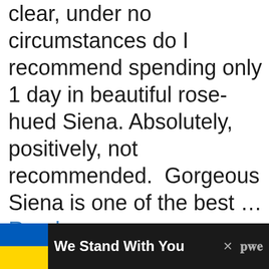clear, under no circumstances do I recommend spending only 1 day in beautiful rose-hued Siena. Absolutely, positively, not recommended. Gorgeous Siena is one of the best … Read more
Categories: Italy, Itineraries, Siena
Tags: florence, ITALY, Itineraries, siena, UNESCO
We Stand With You